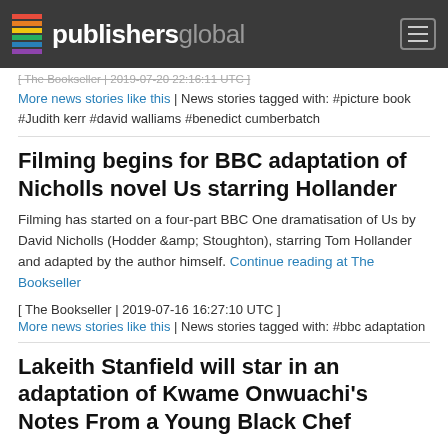publishersglobal
[ The Bookseller | 2019-07-20 22:1... ]
More news stories like this | News stories tagged with: #picture book #Judith kerr #david walliams #benedict cumberbatch
Filming begins for BBC adaptation of Nicholls novel Us starring Hollander
Filming has started on a four-part BBC One dramatisation of Us by David Nicholls (Hodder &amp; Stoughton), starring Tom Hollander and adapted by the author himself. Continue reading at The Bookseller
[ The Bookseller | 2019-07-16 16:27:10 UTC ]
More news stories like this | News stories tagged with: #bbc adaptation
Lakeith Stanfield will star in an adaptation of Kwame Onwuachi's Notes From a Young Black Chef